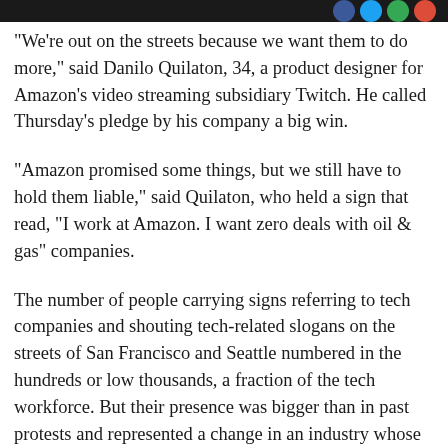"We're out on the streets because we want them to do more," said Danilo Quilaton, 34, a product designer for Amazon's video streaming subsidiary Twitch. He called Thursday's pledge by his company a big win.
"Amazon promised some things, but we still have to hold them liable," said Quilaton, who held a sign that read, "I work at Amazon. I want zero deals with oil & gas" companies.
The number of people carrying signs referring to tech companies and shouting tech-related slogans on the streets of San Francisco and Seattle numbered in the hundreds or low thousands, a fraction of the tech workforce. But their presence was bigger than in past protests and represented a change in an industry whose engineers have often focussed on their work, rather than social issues.